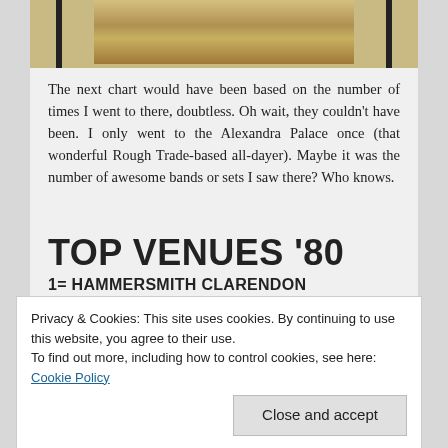[Figure (photo): Cropped historical photograph strip showing people, partially framed by black vertical bars on left and right, with sepia/yellow tones.]
The next chart would have been based on the number of times I went to there, doubtless. Oh wait, they couldn't have been. I only went to the Alexandra Palace once (that wonderful Rough Trade-based all-dayer). Maybe it was the number of awesome bands or sets I saw there? Who knows.
TOP VENUES '80
1= HAMMERSMITH CLARENDON
1= DEPTFORD ALBANY
Privacy & Cookies: This site uses cookies. By continuing to use this website, you agree to their use.
To find out more, including how to control cookies, see here: Cookie Policy
6= GOLDSMITH'S COLLEGE